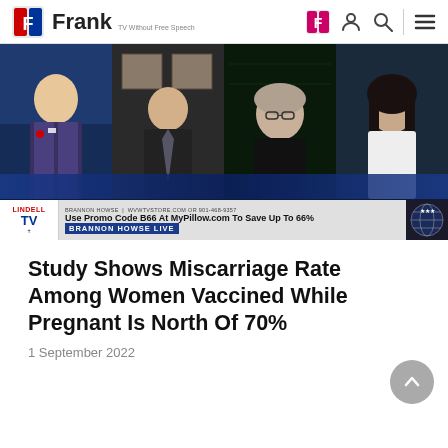Frank - TV Without Free Speech
[Figure (screenshot): Video thumbnail showing a Brannon Howse Live broadcast on Lindell TV with four panelists in a video conference grid. Lower ticker reads: BRANNON HOWSE | WVWTVSTORE.COM OR 901-468-9357 and Use Promo Code B66 At MyPillow.com To Save Up To 66%. Bottom banner reads BRANNON HOWSE LIVE.]
Study Shows Miscarriage Rate Among Women Vaccined While Pregnant Is North Of 70%
1 September 2022